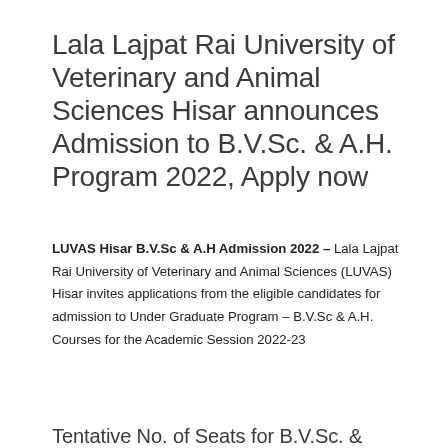Lala Lajpat Rai University of Veterinary and Animal Sciences Hisar announces Admission to B.V.Sc. & A.H. Program 2022, Apply now
LUVAS Hisar B.V.Sc & A.H Admission 2022 – Lala Lajpat Rai University of Veterinary and Animal Sciences (LUVAS) Hisar invites applications from the eligible candidates for admission to Under Graduate Program – B.V.Sc & A.H. Courses for the Academic Session 2022-23
Tentative No. of Seats for B.V.Sc. &